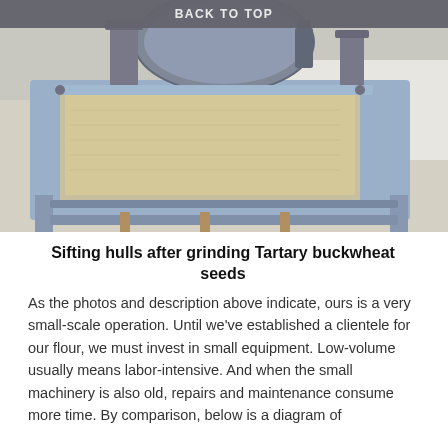BACK TO TOP
[Figure (photo): A grain sifting machine with metal frame and lid, showing ground Tartary buckwheat flour/hulls inside, photographed from above at an angle in an indoor setting with white walls.]
Sifting hulls after grinding Tartary buckwheat seeds
As the photos and description above indicate, ours is a very small-scale operation.  Until we've established a clientele for our flour, we must invest in small equipment.  Low-volume usually means labor-intensive.  And when the small machinery is also old, repairs and maintenance consume more time.  By comparison, below is a diagram of